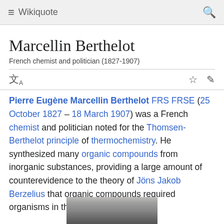≡ Wikiquote 🔍
Marcellin Berthelot
French chemist and politician (1827-1907)
Pierre Eugène Marcellin Berthelot FRS FRSE (25 October 1827 – 18 March 1907) was a French chemist and politician noted for the Thomsen-Berthelot principle of thermochemistry. He synthesized many organic compounds from inorganic substances, providing a large amount of counterevidence to the theory of Jöns Jakob Berzelius that organic compounds required organisms in their synthesis.
[Figure (photo): Black and white photograph (partial) of Marcellin Berthelot at the bottom of the page]